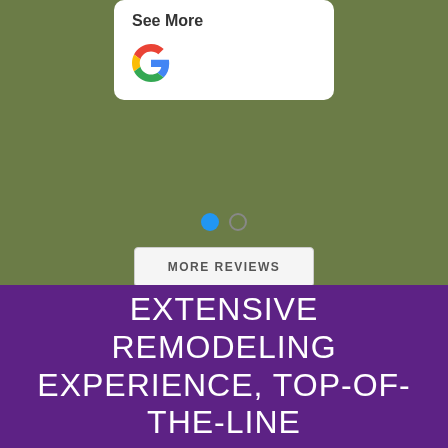See More
[Figure (logo): Google 'G' logo in red, yellow, green, and blue colors]
[Figure (other): Carousel navigation dots: one filled blue dot and one empty circle dot]
MORE REVIEWS
EXTENSIVE REMODELING EXPERIENCE, TOP-OF-THE-LINE